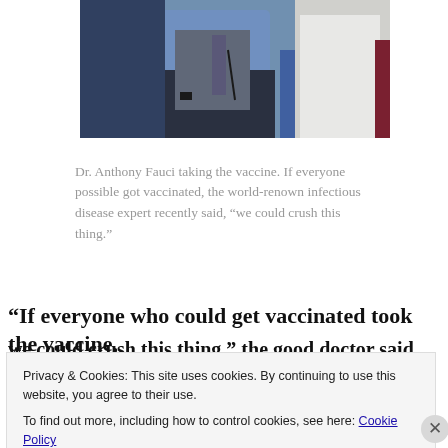[Figure (photo): Dr. Anthony Fauci receiving a vaccine injection, shown from torso level. He is wearing a blue shirt and dark tie. A person in a white coat is administering the shot.]
Dr. Anthony Fauci taking the vaccine. If everyone possible got vaccinated, the world-renown infectious disease expert recently said, “we could crush this thing.”
“If everyone who could get vaccinated took the vaccine, we could crush this thing,” the good doctor said
Privacy & Cookies: This site uses cookies. By continuing to use this website, you agree to their use.
To find out more, including how to control cookies, see here: Cookie Policy